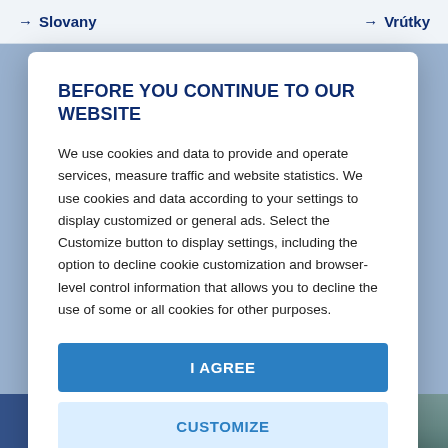→ Slovany    → Vrútky
BEFORE YOU CONTINUE TO OUR WEBSITE
We use cookies and data to provide and operate services, measure traffic and website statistics. We use cookies and data according to your settings to display customized or general ads. Select the Customize button to display settings, including the option to decline cookie customization and browser-level control information that allows you to decline the use of some or all cookies for other purposes.
I AGREE
CUSTOMIZE